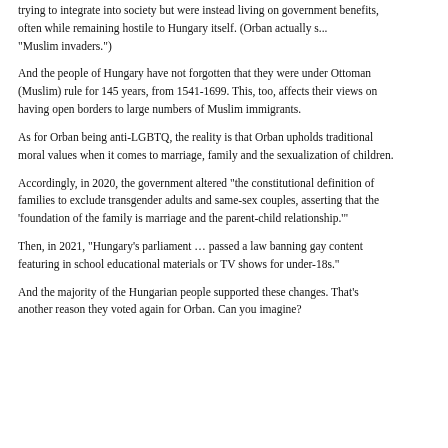trying to integrate into society but were instead living on government benefits, often while remaining hostile to Hungary itself. (Orban actually s... "Muslim invaders.")
And the people of Hungary have not forgotten that they were under Ottoman (Muslim) rule for 145 years, from 1541-1699. This, too, affects their views on having open borders to large numbers of Muslim immigrants.
As for Orban being anti-LGBTQ, the reality is that Orban upholds traditional moral values when it comes to marriage, family and the sexualization of children.
Accordingly, in 2020, the government altered "the constitutional definition of families to exclude transgender adults and same-sex couples, asserting that the 'foundation of the family is marriage and the parent-child relationship.'"
Then, in 2021, "Hungary's parliament … passed a law banning gay content featuring in school educational materials or TV shows for under-18s."
And the majority of the Hungarian people supported these changes. That's another reason they voted again for Orban. Can you imagine?